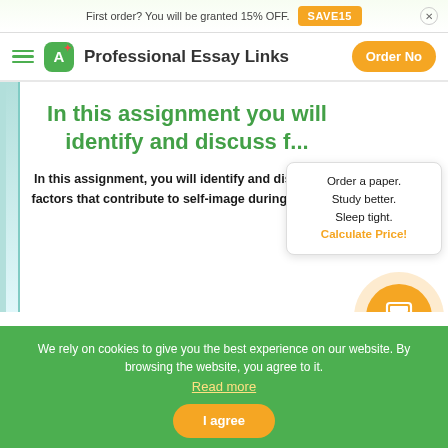First order? You will be granted 15% OFF. SAVE15
Professional Essay Links  Order Now
In this assignment you will identify and discuss f...
In this assignment, you will identify and discuss factors that contribute to self-image during chil...
Order a paper. Study better. Sleep tight. Calculate Price!
We rely on cookies to give you the best experience on our website. By browsing the website, you agree to it. Read more
I agree